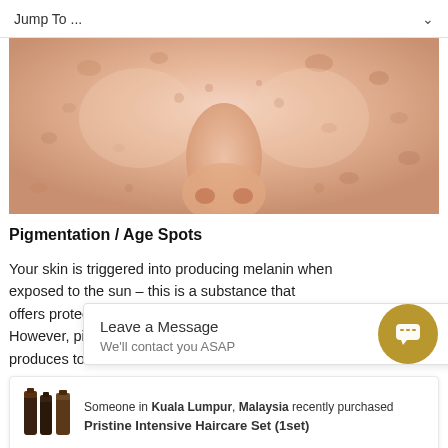Jump To ...
[Figure (photo): Close-up photo of human skin showing pigmentation spots and age spots around the nose area]
Pigmentation / Age Spots
Your skin is triggered into producing melanin when exposed to the sun – this is a substance that offers protection against the harmful UV rays. However, pigmen[tation/t spots appear when the] sk[in] produces too mu[ch melanin...]
[Figure (screenshot): Chat popup overlay with 'Leave a Message' title and 'We'll contact you ASAP' subtitle, with a gold chat bubble icon]
Someone in Kuala Lumpur, Malaysia recently purchased Pristine Intensive Haircare Set (1set)
gently to remove the epidermis. Multiple sessions of pigmentation treatment are needed to...